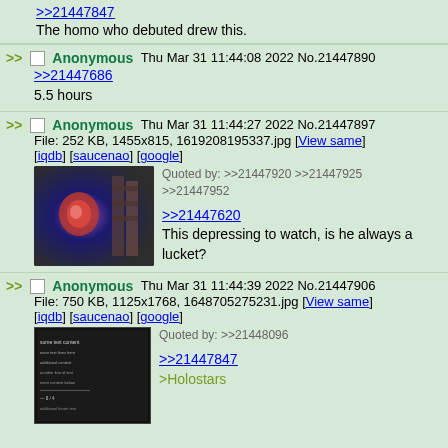>>21447847
The homo who debuted drew this.
>> Anonymous Thu Mar 31 11:44:08 2022 No.21447890
>>21447686
5.5 hours
>> Anonymous Thu Mar 31 11:44:27 2022 No.21447897
File: 252 KB, 1455x815, 1619208195337.jpg [View same] [iqdb] [saucenao] [google]
Quoted by: >>21447920 >>21447925 >>21447952
>>21447620
This depressing to watch, is he always a lucket?
>> Anonymous Thu Mar 31 11:44:39 2022 No.21447906
File: 750 KB, 1125x1768, 1648705275231.jpg [View same] [iqdb] [saucenao] [google]
Quoted by: >>21448096
>>21447847
>Holostars